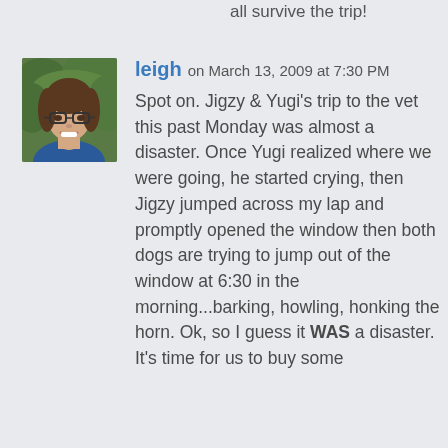all survive the trip!
[Figure (photo): Profile photo of a woman with glasses and long brown hair, smiling, wearing a blue top, against a green leafy background.]
leigh on March 13, 2009 at 7:30 PM
Spot on. Jigzy & Yugi's trip to the vet this past Monday was almost a disaster. Once Yugi realized where we were going, he started crying, then Jigzy jumped across my lap and promptly opened the window then both dogs are trying to jump out of the window at 6:30 in the morning...barking, howling, honking the horn. Ok, so I guess it WAS a disaster. It's time for us to buy some